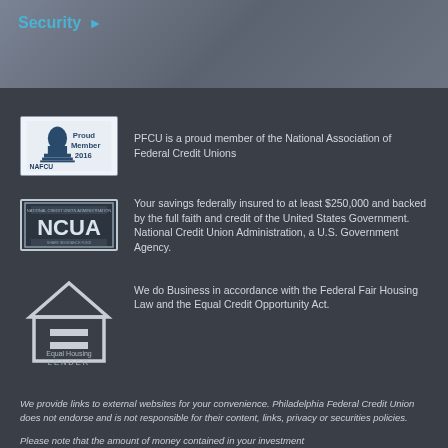Security ►
[Figure (logo): NAFCU Proud Member 2016 badge]
PFCU is a proud member of the National Association of Federal Credit Unions
[Figure (logo): NCUA logo badge]
Your savings federally insured to at least $250,000 and backed by the full faith and credit of the United States Government. National Credit Union Administration, a U.S. Government Agency.
[Figure (logo): Equal Housing Lender logo]
We do Business in accordance with the Federal Fair Housing Law and the Equal Credit Opportunity Act.
We provide links to external websites for your convenience. Philadelphia Federal Credit Union does not endorse and is not responsible for their content, links, privacy or securities policies.
Please note that the amount of money contained in your investment